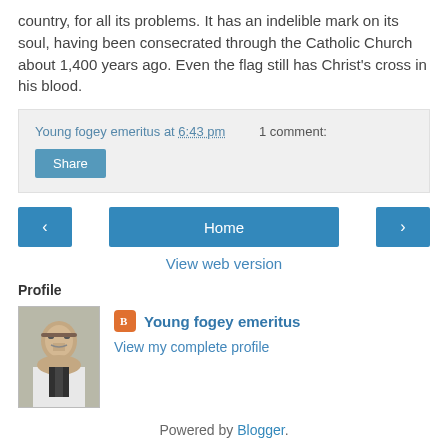country, for all its problems. It has an indelible mark on its soul, having been consecrated through the Catholic Church about 1,400 years ago. Even the flag still has Christ's cross in his blood.
Young fogey emeritus at 6:43 pm    1 comment:
Share
Home
View web version
Profile
Young fogey emeritus
View my complete profile
Powered by Blogger.